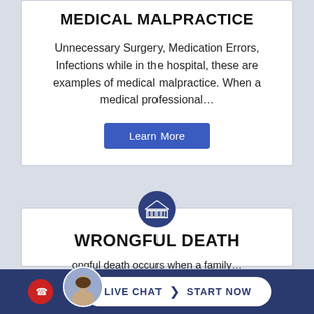MEDICAL MALPRACTICE
Unnecessary Surgery, Medication Errors, Infections while in the hospital, these are examples of medical malpractice. When a medical professional…
Learn More
WRONGFUL DEATH
ongful death occurs when a family…
LIVE CHAT  START NOW